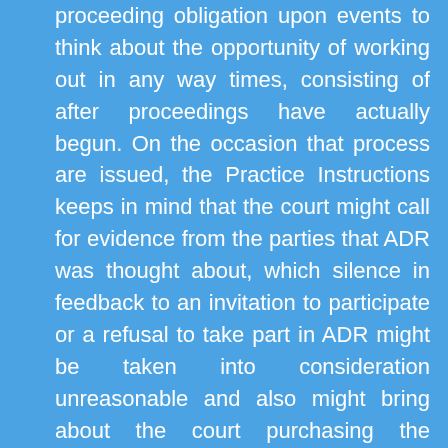proceeding obligation upon events to think about the opportunity of working out in any way times, consisting of after proceedings have actually begun. On the occasion that process are issued, the Practice Instructions keeps in mind that the court might call for evidence from the parties that ADR was thought about, which silence in feedback to an invitation to participate or a refusal to take part in ADR might be taken into consideration unreasonable and also might bring about the court purchasing the defaulting event to pay extra court expenses. Paragraph 3.1.2 of the Pre-Action Procedure for Construction and Engineering Disputes (second edition) states that of its goals is to 'make suitable attempts to settle the matter without beginning process and also, specifically, to take into consideration making use